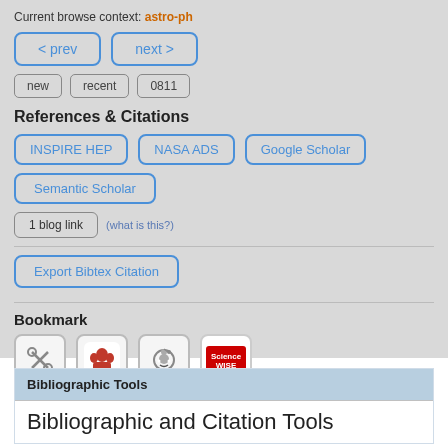Current browse context: astro-ph
< prev   next >
new   recent   0811
References & Citations
INSPIRE HEP   NASA ADS   Google Scholar
Semantic Scholar
1 blog link   (what is this?)
Export Bibtex Citation
Bookmark
[Figure (infographic): Four bookmark icon buttons: a scissors/tools icon, a Mendeley icon (red figure), a Reddit alien icon, and a ScienceWISE icon]
Bibliographic Tools
Bibliographic and Citation Tools